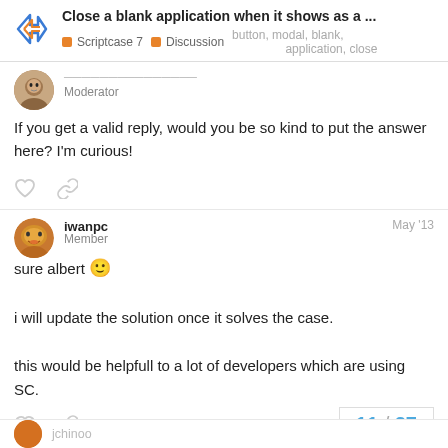Close a blank application when it shows as a ... | Scriptcase 7 | Discussion | button, modal, blank, application, close
Moderator
If you get a valid reply, would you be so kind to put the answer here? I'm curious!
iwanpc — Member — May '13
sure albert 🙂

i will update the solution once it solves the case.

this would be helpfull to a lot of developers which are using SC.
11 / 27